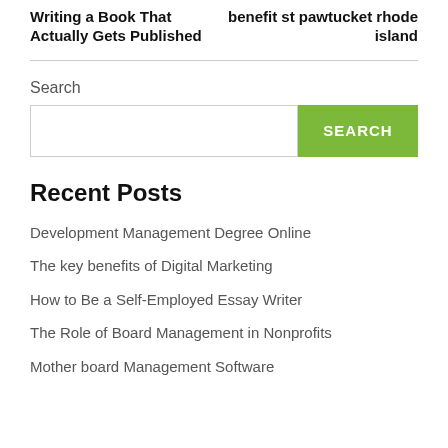Writing a Book That Actually Gets Published
benefit st pawtucket rhode island
Search
Recent Posts
Development Management Degree Online
The key benefits of Digital Marketing
How to Be a Self-Employed Essay Writer
The Role of Board Management in Nonprofits
Mother board Management Software